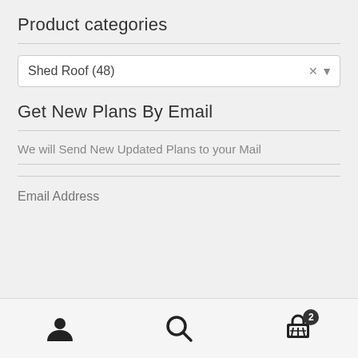Product categories
[Figure (screenshot): Dropdown select box showing 'Shed Roof  (48)' with close (x) and dropdown arrow icons on the right]
Get New Plans By Email
We will Send New Updated Plans to your Mail
Email Address
[Figure (infographic): Bottom navigation bar with user profile icon, search icon, and shopping cart icon with badge showing 2]